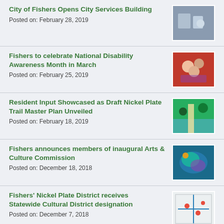City of Fishers Opens City Services Building
Posted on: February 28, 2019
[Figure (photo): Photo related to City Services Building]
Fishers to celebrate National Disability Awareness Month in March
Posted on: February 25, 2019
[Figure (photo): Group photo of people for disability awareness]
Resident Input Showcased as Draft Nickel Plate Trail Master Plan Unveiled
Posted on: February 18, 2019
[Figure (photo): Aerial view of Nickel Plate Trail]
Fishers announces members of inaugural Arts & Culture Commission
Posted on: December 18, 2018
[Figure (photo): Colorful arts and culture artwork]
Fishers' Nickel Plate District receives Statewide Cultural District designation
Posted on: December 7, 2018
[Figure (photo): Map of Nickel Plate District]
One-of-a-Kind Makerspace, Design Center to